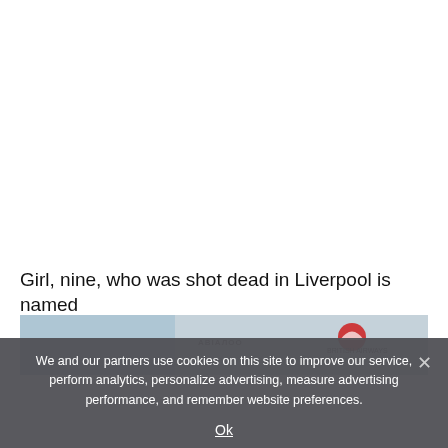Girl, nine, who was shot dead in Liverpool is named
[Figure (photo): Partial photograph visible behind cookie consent banner, showing a sky background with what appears to be a vehicle or logo with red and white colors]
We and our partners use cookies on this site to improve our service, perform analytics, personalize advertising, measure advertising performance, and remember website preferences.
Ok